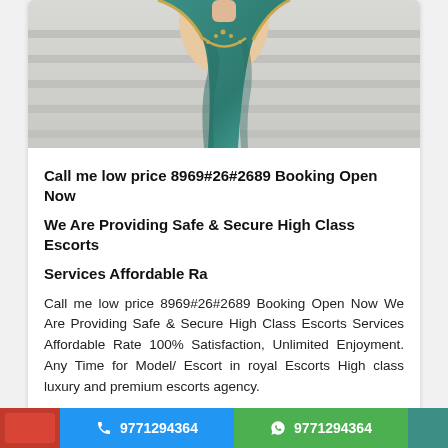[Figure (photo): Woman wearing a teal/green saree with gold border trim, upper body visible]
Call me low price 8969#26#2689 Booking Open Now
We Are Providing Safe & Secure High Class Escorts
Services Affordable Ra
Call me low price 8969#26#2689 Booking Open Now We Are Providing Safe & Secure High Class Escorts Services Affordable Rate 100% Satisfaction, Unlimited Enjoyment. Any Time for Model/ Escort in royal Escorts High class luxury and premium escorts agency.
20 years | Escorts | Hosur| Created : 04/08/2022
9771294364
9771294364